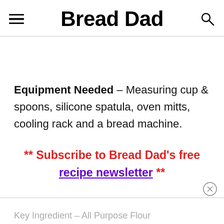Bread Dad
Equipment Needed – Measuring cup & spoons, silicone spatula, oven mitts, cooling rack and a bread machine.
** Subscribe to Bread Dad's free recipe newsletter **
Key Ingredient – All Purpose Flour